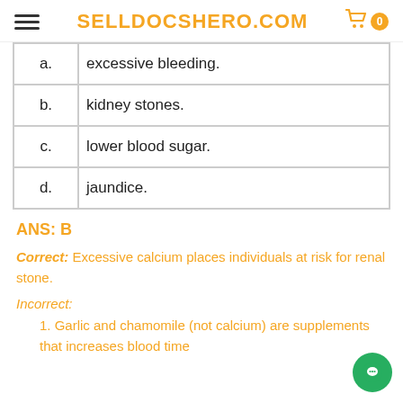SELLDOCSHERO.COM
|  |  |
| --- | --- |
| a. | excessive bleeding. |
| b. | kidney stones. |
| c. | lower blood sugar. |
| d. | jaundice. |
ANS: B
Correct: Excessive calcium places individuals at risk for renal stone.
Incorrect:
1. Garlic and chamomile (not calcium) are supplements that increases blood time